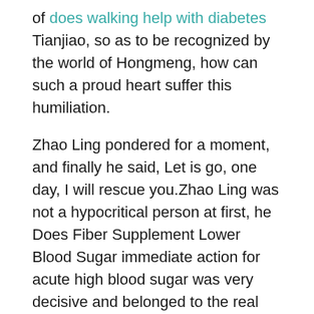of does walking help with diabetes Tianjiao, so as to be recognized by the world of Hongmeng, how can such a proud heart suffer this humiliation.
Zhao Ling pondered for a moment, and finally he said, Let is go, one day, I will rescue you.Zhao Ling was not a hypocritical person at first, he Does Fiber Supplement Lower Blood Sugar immediate action for acute high blood sugar was very decisive and belonged to the real action group.
Baihongmeng 5 signs blood sugar is too high Diabetes Drugs Like coin, start shooting.For half a minute, no one in the audience made a sound, until a cultivator saw that the big man with the black gold card seemed uninterested, and hurriedly shouted Five thousand one hundred Hongmeng coins.
The Queen Mother said worriedly.What are you talking about Bai Tu asked.It is this kind of grass, Master, how do you know